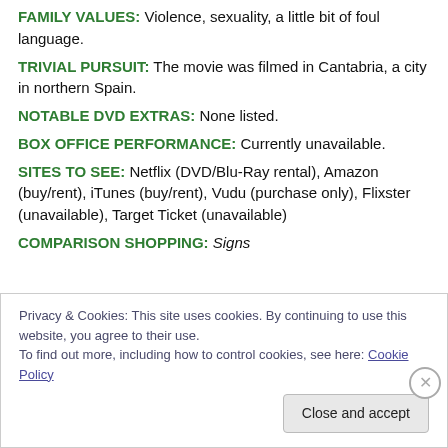FAMILY VALUES: Violence, sexuality, a little bit of foul language.
TRIVIAL PURSUIT: The movie was filmed in Cantabria, a city in northern Spain.
NOTABLE DVD EXTRAS: None listed.
BOX OFFICE PERFORMANCE: Currently unavailable.
SITES TO SEE: Netflix (DVD/Blu-Ray rental), Amazon (buy/rent), iTunes (buy/rent), Vudu (purchase only), Flixster (unavailable), Target Ticket (unavailable)
COMPARISON SHOPPING: Signs
Privacy & Cookies: This site uses cookies. By continuing to use this website, you agree to their use. To find out more, including how to control cookies, see here: Cookie Policy. Close and accept.